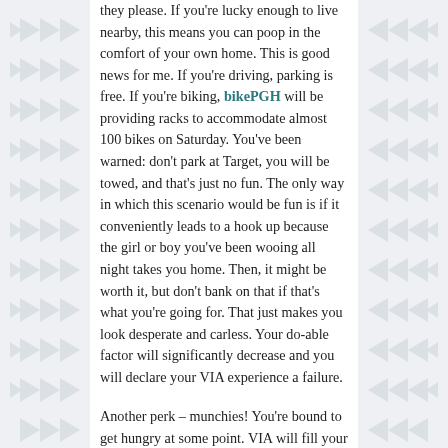they please. If you're lucky enough to live nearby, this means you can poop in the comfort of your own home. This is good news for me. If you're driving, parking is free. If you're biking, bikePGH will be providing racks to accommodate almost 100 bikes on Saturday. You've been warned: don't park at Target, you will be towed, and that's just no fun. The only way in which this scenario would be fun is if it conveniently leads to a hook up because the girl or boy you've been wooing all night takes you home. Then, it might be worth it, but don't bank on that if that's what you're going for. That just makes you look desperate and carless. Your do-able factor will significantly decrease and you will declare your VIA experience a failure.

Another perk – munchies! You're bound to get hungry at some point. VIA will fill your tummy with goodness from around the